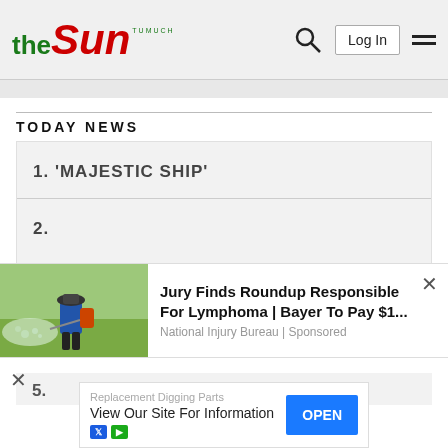the Sun — Log In
TODAY NEWS
1. 'MAJESTIC SHIP'
2.
[Figure (infographic): Advertisement overlay: image of a person spraying pesticides in a field, with headline 'Jury Finds Roundup Responsible For Lymphoma | Bayer To Pay $1...' from National Injury Bureau | Sponsored]
5.
[Figure (infographic): Bottom banner ad: Replacement Digging Parts — View Our Site For Information, with OPEN button]